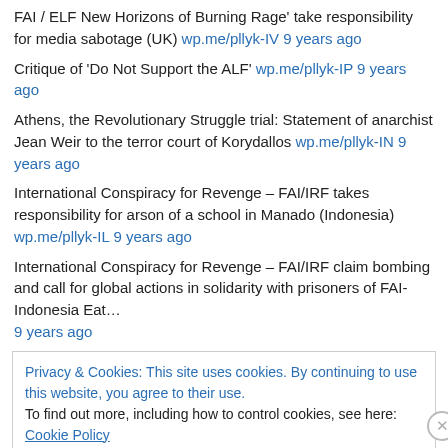FAI / ELF New Horizons of Burning Rage' take responsibility for media sabotage (UK) wp.me/pllyk-IV 9 years ago
Critique of 'Do Not Support the ALF' wp.me/pllyk-IP 9 years ago
Athens, the Revolutionary Struggle trial: Statement of anarchist Jean Weir to the terror court of Korydallos wp.me/pllyk-IN 9 years ago
International Conspiracy for Revenge – FAI/IRF takes responsibility for arson of a school in Manado (Indonesia) wp.me/pllyk-IL 9 years ago
International Conspiracy for Revenge – FAI/IRF claim bombing and call for global actions in solidarity with prisoners of FAI-Indonesia Eat… 9 years ago
Privacy & Cookies: This site uses cookies. By continuing to use this website, you agree to their use. To find out more, including how to control cookies, see here: Cookie Policy
Close and accept